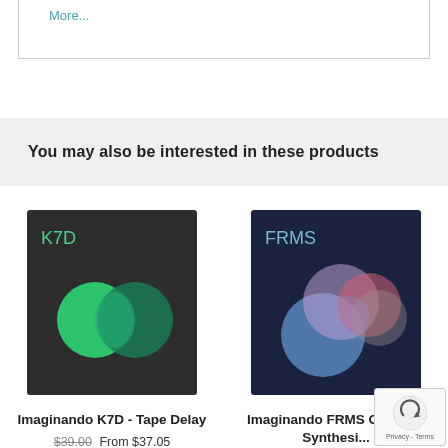More...
You may also be interested in these products
[Figure (illustration): Imaginando K7D plugin cover art: dark background with teal/green overlapping circles and 'K7D' text in green]
Imaginando K7D - Tape Delay
$39.00 From $37.05
[Figure (illustration): Imaginando FRMS plugin cover art: dark navy background with overlapping translucent colored spheres (blue, pink, red) and 'FRMS' text]
Imaginando FRMS Granular Synthesizer
$119.00 From $113.05